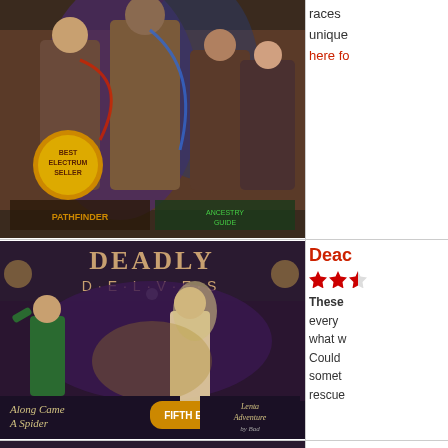[Figure (illustration): Fantasy RPG book cover showing diverse characters - Pathfinder 'Ancestry Guide' with Best Electrum Seller badge]
races ... unique ... here fo...
[Figure (illustration): Deadly Delves: Along Came A Spider - Fifth Edition adventure book cover showing two female characters in dungeon]
Deac... These... every... what w... Could... somet... rescue...
[Figure (illustration): Deadly Delves: Along Came A Spider - another edition cover, similar artwork]
Deac... These... every... what w... Could... somet... rescue...